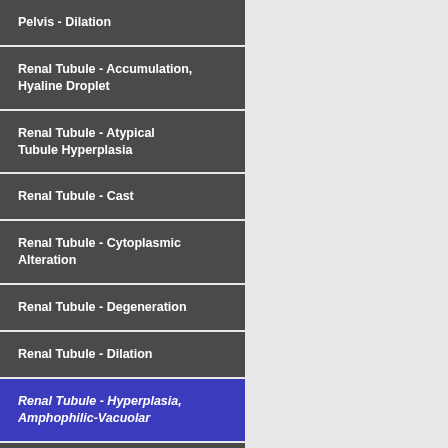Pelvis - Dilation
Renal Tubule - Accumulation, Hyaline Droplet
Renal Tubule - Atypical Tubule Hyperplasia
Renal Tubule - Cast
Renal Tubule - Cytoplasmic Alteration
Renal Tubule - Degeneration
Renal Tubule - Dilation
Renal Tubule - Hyperplasia, Amphophilic-Vacuolar
Renal Tubule - Hyperplasia, Oncocytic
Renal Tubule - Hypertrophy